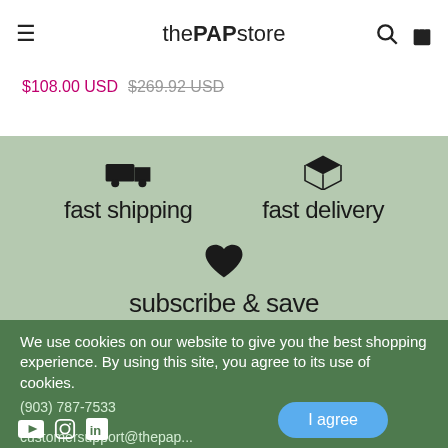thePAPstore
$108.00 USD $269.92 USD
[Figure (infographic): Green banner with fast shipping truck icon, fast delivery box icon, and subscribe & save heart icon on sage green background]
We use cookies on our website to give you the best shopping experience. By using this site, you agree to its use of cookies.
(903) 787-7533
customersupport@thepap...
I agree